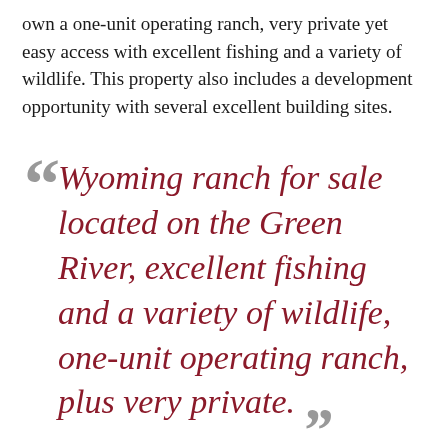own a one-unit operating ranch, very private yet easy access with excellent fishing and a variety of wildlife. This property also includes a development opportunity with several excellent building sites.
Wyoming ranch for sale located on the Green River, excellent fishing and a variety of wildlife, one-unit operating ranch, plus very private.